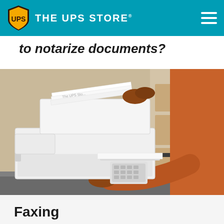THE UPS STORE
to notarize documents?
[Figure (photo): Person in orange shirt using a white multifunction fax/printer machine at a counter, with cardboard boxes visible in the background. The UPS Store branding visible on a document being fed into the machine.]
Faxing
Need to fax your notarized documents? No problem. Our fax machines are ready to go. We